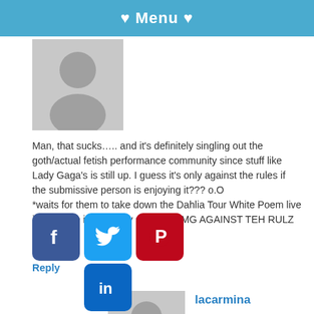♥ Menu ♥
[Figure (illustration): Grey avatar placeholder silhouette icon]
Man, that sucks….. and it's definitely singling out the goth/actual fetish performance community since stuff like Lady Gaga's is still up. I guess it's only against the rules if the submissive person is enjoying it??? o.O
*waits for them to take down the Dahlia Tour White Poem live if male sub is suddenly seen as OMG AGAINST TEH RULZ LOL*
Reply
[Figure (illustration): Grey avatar placeholder silhouette icon for lacarmina]
lacarmina
Posted June 14, 2010 at 8:41 pm | Permalink
The submissive person in the Osaka video is enjoying
[Figure (infographic): Social media share icons: Facebook, Twitter, Pinterest, LinkedIn]